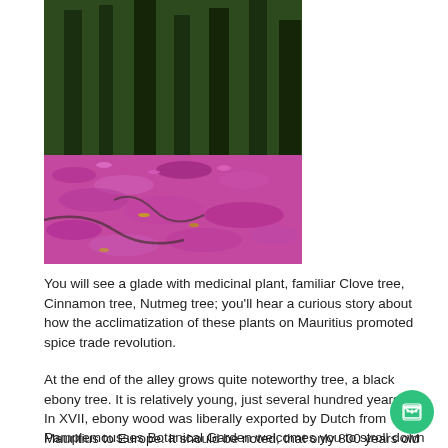[Figure (photo): A forest floor covered in vibrant pink/magenta fallen flower petals or leaves, with large trees and their roots visible in the background.]
You will see a glade with medicinal plant, familiar Clove tree, Cinnamon tree, Nutmeg tree; you'll hear a curious story about how the acclimatization of these plants on Mauritius promoted spice trade revolution.
At the end of the alley grows quite noteworthy tree, a black ebony tree. It is relatively young, just several hundred years old. In XVII, ebony wood was liberally exported by Dutch from Mauritius to Europe. It should be noted, that only 800 years old trees were valued.
Pamplemousses Botanical Garden welcomes you to stroll down